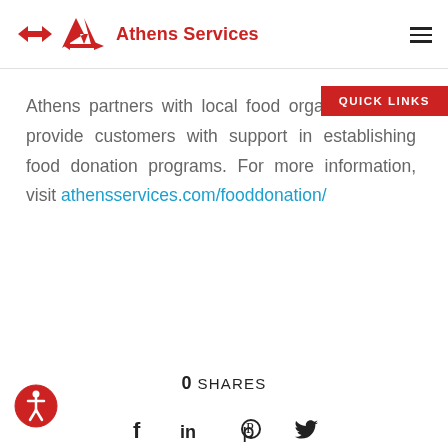Athens Services
Athens partners with local food organizations to provide customers with support in establishing food donation programs. For more information, visit athensservices.com/fooddonation/
QUICK LINKS
0 SHARES
[Figure (logo): Accessibility icon — red circle with white human figure]
Social share icons: Facebook, LinkedIn, Pinterest, Twitter